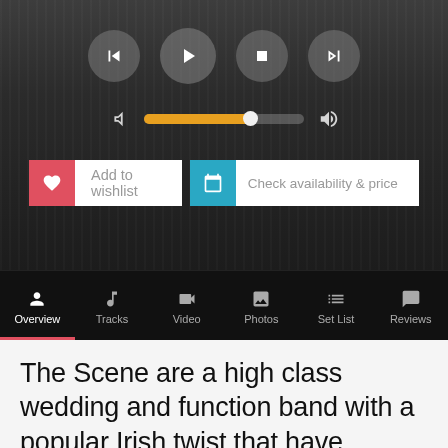[Figure (screenshot): Music player UI with transport controls (skip back, play, stop, skip forward), a volume/progress bar with orange fill, an 'Add to wishlist' button with red heart icon, and a 'Check availability & price' button with blue calendar icon.]
[Figure (screenshot): Navigation tab bar with icons and labels: Overview (active, underlined in red), Tracks, Video, Photos, Set List, Reviews — on a dark/black background.]
The Scene are a high class wedding and function band with a popular Irish twist that have developed a reputation for filling dance-floors wherever they perform.